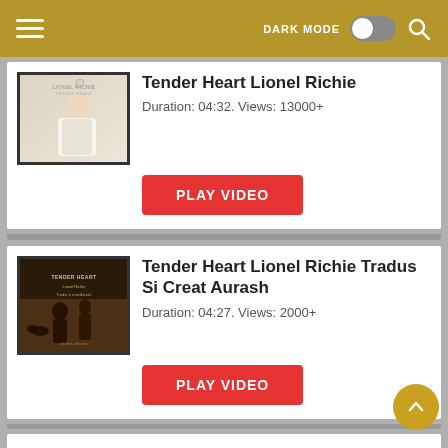DARK MODE [toggle] [search icon] [menu icon]
Tender Heart Lionel Richie
Duration: 04:32. Views: 13000+
PLAY VIDEO
Tender Heart Lionel Richie Tradus Si Creat Aurash
Duration: 04:27. Views: 2000+
PLAY VIDEO